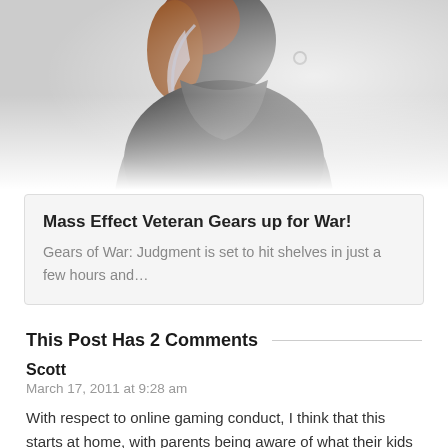[Figure (illustration): Partial view of a game character (Mass Effect/Gears of War) fading into white at the bottom — upper body with dark armor and reddish-brown hair visible]
Mass Effect Veteran Gears up for War!
Gears of War: Judgment is set to hit shelves in just a few hours and...
This Post Has 2 Comments
Scott
March 17, 2011 at 9:28 am
With respect to online gaming conduct, I think that this starts at home, with parents being aware of what their kids are